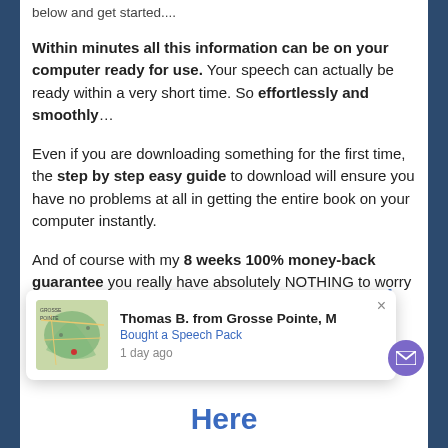below and get started....
Within minutes all this information can be on your computer ready for use. Your speech can actually be ready within a very short time. So effortlessly and smoothly…
Even if you are downloading something for the first time, the step by step easy guide to download will ensure you have no problems at all in getting the entire book on your computer instantly.
And of course with my 8 weeks 100% money-back guarantee you really have absolutely NOTHING to worry about.
[Figure (screenshot): Popup notification showing map thumbnail, 'Thomas B. from Grosse Pointe, M' text, 'Bought a Speech Pack', '1 day ago', with close button and partial blue text 'ested and by Clicking' visible at right, plus purple email icon button]